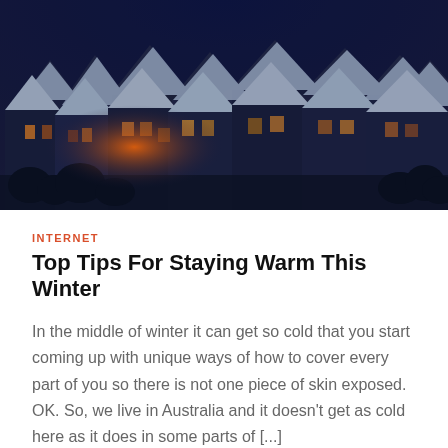[Figure (photo): Aerial view of snow-covered European town with half-timbered houses at dusk, warm orange lights glowing from windows against blue winter twilight sky]
INTERNET
Top Tips For Staying Warm This Winter
In the middle of winter it can get so cold that you start coming up with unique ways of how to cover every part of you so there is not one piece of skin exposed. OK. So, we live in Australia and it doesn't get as cold here as it does in some parts of [...]